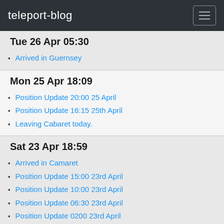teleport-blog
Tue 26 Apr 05:30
Arrived in Guernsey
Mon 25 Apr 18:09
Position Update 20:00 25 April
Position Update 16:15 25th April
Leaving Cabaret today.
Sat 23 Apr 18:59
Arrived in Camaret
Position Update 15:00 23rd April
Position Update 10:00 23rd April
Position Update 06:30 23rd April
Position Update 0200 23rd April
Fri 22 Apr 20:19
Position Update 22:15, 22nd April
Position Update 18:00 22nd April
Position Update 14:20 22nd April
Position Update 06:15
Position Update